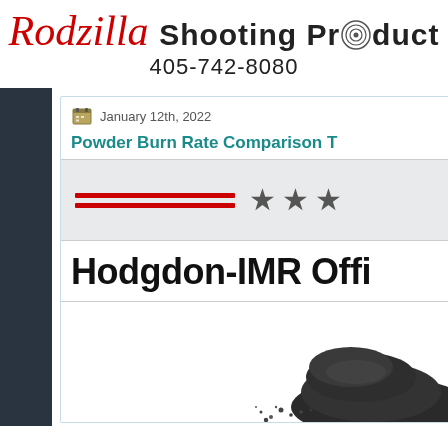Rodzilla Shooting Products 405-742-8080
January 12th, 2022
Powder Burn Rate Comparison T...
[Figure (illustration): Two red horizontal lines with three dark star rating icons to the right]
Hodgdon-IMR Offi...
[Figure (photo): Pile of gunpowder granules in lower right corner]